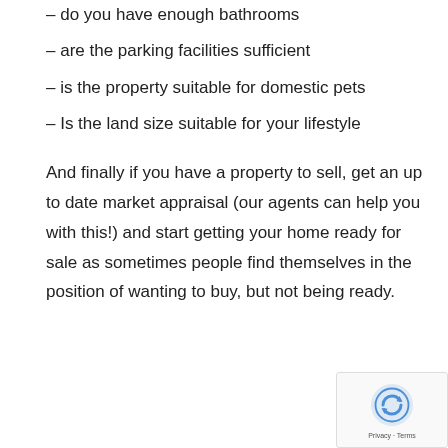– do you have enough bathrooms
– are the parking facilities sufficient
– is the property suitable for domestic pets
– Is the land size suitable for your lifestyle
And finally if you have a property to sell, get an up to date market appraisal (our agents can help you with this!) and start getting your home ready for sale as sometimes people find themselves in the position of wanting to buy, but not being ready.